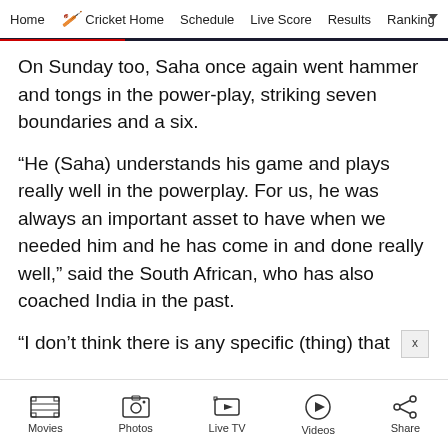Home  Cricket Home  Schedule  Live Score  Results  Ranking
On Sunday too, Saha once again went hammer and tongs in the power-play, striking seven boundaries and a six.
“He (Saha) understands his game and plays really well in the powerplay. For us, he was always an important asset to have when we needed him and he has come in and done really well,” said the South African, who has also coached India in the past.
“I don’t think there is any specific (thing) that
Movies  Photos  Live TV  Videos  Share